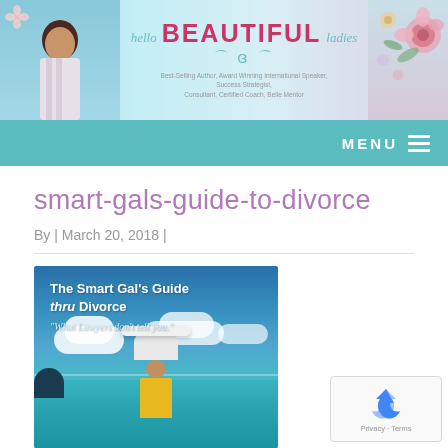hello BEAUTIFUL ladies — Best-Selling Author, Award Winning International Speaker, Success Strategist, Consultant, Certified Coach, Belle Mentor
MENU
smart-gals-guide-to-divorce
By | March 20, 2018 |
[Figure (photo): Book cover: The Smart Gal's Guide thru Divorce – 'What Lawyers don't tell you.' showing a woman in a yellow top wearing a white sun hat looking out at a tropical ocean scene.]